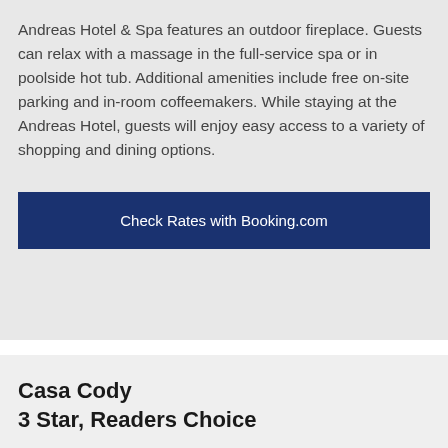Andreas Hotel & Spa features an outdoor fireplace. Guests can relax with a massage in the full-service spa or in poolside hot tub. Additional amenities include free on-site parking and in-room coffeemakers. While staying at the Andreas Hotel, guests will enjoy easy access to a variety of shopping and dining options.
Check Rates with Booking.com
Casa Cody
3 Star, Readers Choice